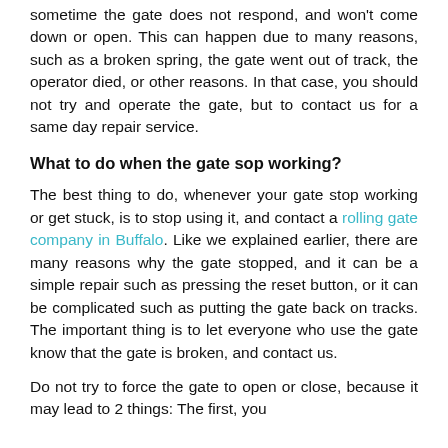sometime the gate does not respond, and won't come down or open. This can happen due to many reasons, such as a broken spring, the gate went out of track, the operator died, or other reasons. In that case, you should not try and operate the gate, but to contact us for a same day repair service.
What to do when the gate sop working?
The best thing to do, whenever your gate stop working or get stuck, is to stop using it, and contact a rolling gate company in Buffalo. Like we explained earlier, there are many reasons why the gate stopped, and it can be a simple repair such as pressing the reset button, or it can be complicated such as putting the gate back on tracks. The important thing is to let everyone who use the gate know that the gate is broken, and contact us.
Do not try to force the gate to open or close, because it may lead to 2 things: The first, you